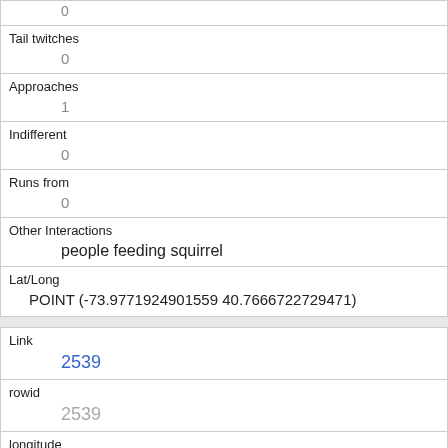| Tail twitches | 0 |
| Approaches | 1 |
| Indifferent | 0 |
| Runs from | 0 |
| Other Interactions | people feeding squirrel |
| Lat/Long | POINT (-73.9771924901559 40.7666722729471) |
| Link | 2539 |
| rowid | 2539 |
| longitude | -73.97810334484679 |
| latitude |  |